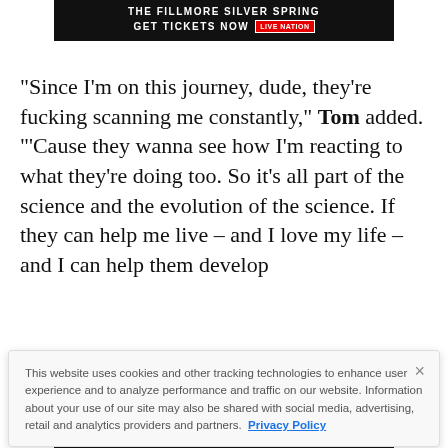[Figure (other): Black advertisement banner for a concert at The Fillmore Silver Spring with Live Nation branding and 'Get Tickets Now' call to action]
"Since I'm on this journey, dude, they're fucking scanning me constantly," Tom added. "'Cause they wanna see how I'm reacting to what they're doing too. So it's all part of the science and the evolution of the science. If they can help me live – and I love my life – and I can help them develop
This website uses cookies and other tracking technologies to enhance user experience and to analyze performance and traffic on our website. Information about your use of our site may also be shared with social media, advertising, retail and analytics providers and partners. Privacy Policy
[Figure (other): Bottom advertisement banner for Carpenter Brut concert on Sat. September 3 at The Fillmore Silver Spring, with red text on black background]